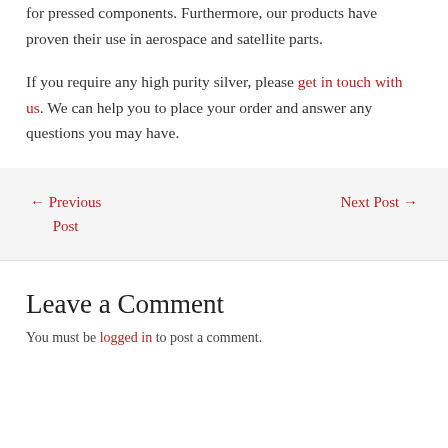for pressed components. Furthermore, our products have proven their use in aerospace and satellite parts.
If you require any high purity silver, please get in touch with us. We can help you to place your order and answer any questions you may have.
← Previous Post
Next Post →
Leave a Comment
You must be logged in to post a comment.